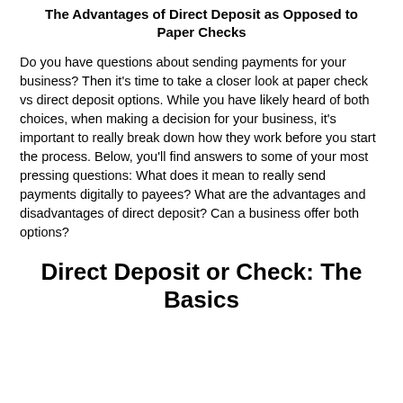The Advantages of Direct Deposit as Opposed to Paper Checks
Do you have questions about sending payments for your business? Then it's time to take a closer look at paper check vs direct deposit options. While you have likely heard of both choices, when making a decision for your business, it's important to really break down how they work before you start the process. Below, you'll find answers to some of your most pressing questions: What does it mean to really send payments digitally to payees? What are the advantages and disadvantages of direct deposit? Can a business offer both options?
Direct Deposit or Check: The Basics